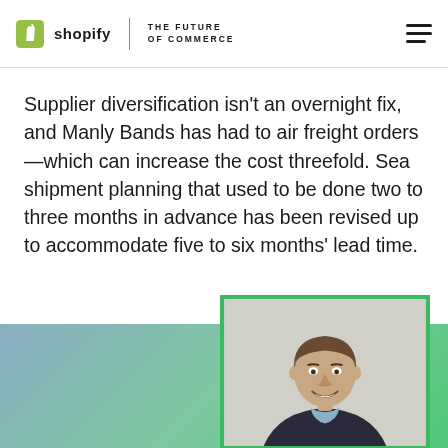shopify | THE FUTURE OF COMMERCE
Supplier diversification isn't an overnight fix, and Manly Bands has had to air freight orders—which can increase the cost threefold. Sea shipment planning that used to be done two to three months in advance has been revised up to accommodate five to six months' lead time.
[Figure (photo): Headshot of a man in a dark suit jacket, smiling, against a light background, displayed in a green-bordered photo frame over a blue-green gradient background.]